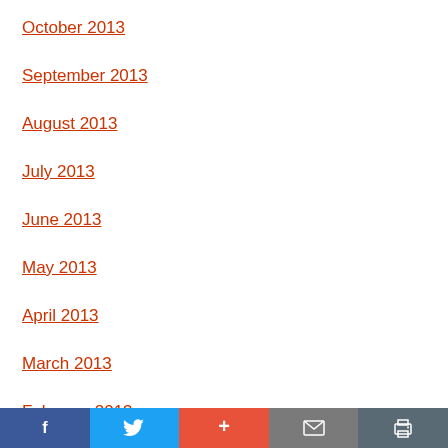October 2013
September 2013
August 2013
July 2013
June 2013
May 2013
April 2013
March 2013
February 2013
Social share bar: Facebook, Twitter, Plus, Email, Print